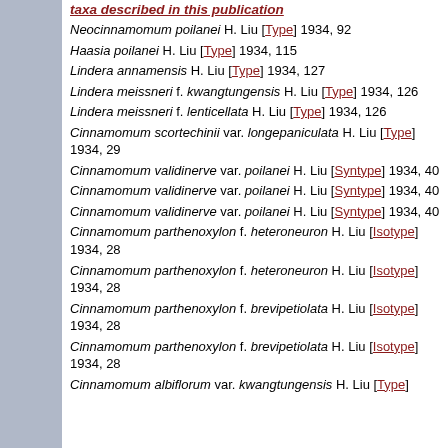taxa described in this publication
Neocinnamomum poilanei H. Liu [Type] 1934, 92
Haasia poilanei H. Liu [Type] 1934, 115
Lindera annamensis H. Liu [Type] 1934, 127
Lindera meissneri f. kwangtungensis H. Liu [Type] 1934, 126
Lindera meissneri f. lenticellata H. Liu [Type] 1934, 126
Cinnamomum scortechinii var. longepaniculata H. Liu [Type] 1934, 29
Cinnamomum validinerve var. poilanei H. Liu [Syntype] 1934, 40
Cinnamomum validinerve var. poilanei H. Liu [Syntype] 1934, 40
Cinnamomum validinerve var. poilanei H. Liu [Syntype] 1934, 40
Cinnamomum parthenoxylon f. heteroneuron H. Liu [Isotype] 1934, 28
Cinnamomum parthenoxylon f. heteroneuron H. Liu [Isotype] 1934, 28
Cinnamomum parthenoxylon f. brevipetiolata H. Liu [Isotype] 1934, 28
Cinnamomum parthenoxylon f. brevipetiolata H. Liu [Isotype] 1934, 28
Cinnamomum albiflorum var. kwangtungensis H. Liu [Type]